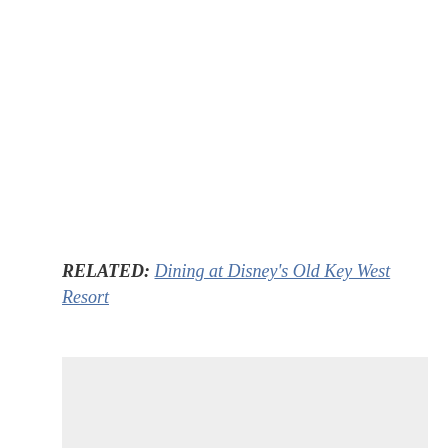RELATED: Dining at Disney's Old Key West Resort
[Figure (other): Gray placeholder box below the related link]